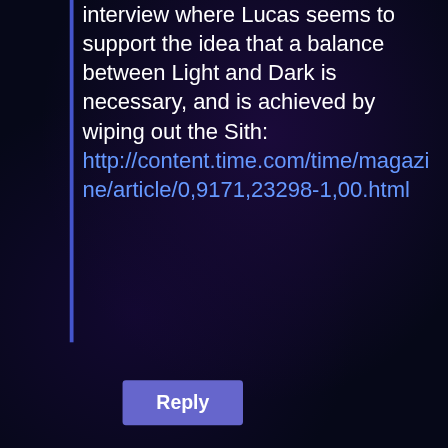interview where Lucas seems to support the idea that a balance between Light and Dark is necessary, and is achieved by wiping out the Sith: http://content.time.com/time/magazine/article/0,9171,23298-1,00.html
Reply
RHJunior
May 16, 2017 at 5:24 am
I cannot agree more on point one. This dualistic nonsense refuses to die, even though philosophers such as C.S. Lewis took it out behind the shed and